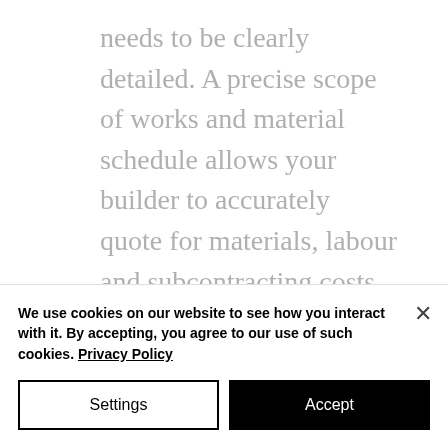needs to be clearly detailed. A precise scope of works and material schedule allows your builder to accurately quote for materials, labour and subcontracting costs. Check with your builder for their suppliers and trade accounts that may be able to save you money.
We use cookies on our website to see how you interact with it. By accepting, you agree to our use of such cookies. Privacy Policy